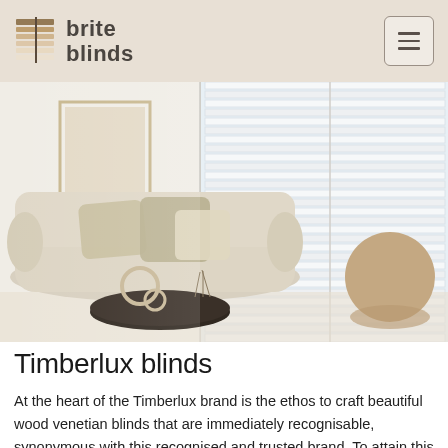[Figure (logo): Brite Blinds logo with stacked layers icon and text 'brite blinds']
[Figure (photo): Interior room photo showing a cream sofa with cushions, decorative objects on a table, and large white venetian blinds on windows with natural light]
Timberlux blinds
At the heart of the Timberlux brand is the ethos to craft beautiful wood venetian blinds that are immediately recognisable, synonymous with this recognised and trusted brand. To attain this core philosophy, sourcing the finest raw materials are paramount, ensuring sustainably